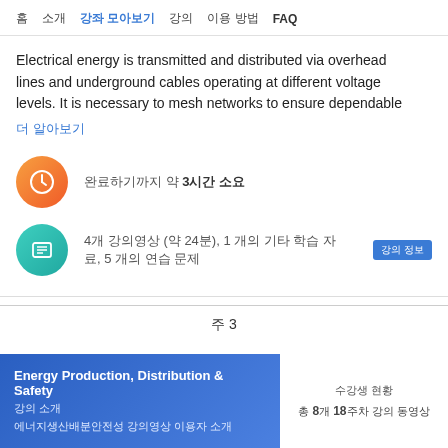홈  소개  강좌 모아보기  강의  이용 방법  FAQ
Electrical energy is transmitted and distributed via overhead lines and underground cables operating at different voltage levels. It is necessary to mesh networks to ensure dependable
더 알아보기
완료하기까지 약 3시간 소요
4개 강의영상 (약 24분), 1 개의 기타 학습 자료, 5 개의 연습 문제   강의 정보
주 3
Energy Production, Distribution & Safety
강의 소개
에너지생산배분안전성 강의영상 이용자 소개
수강생 현황
총 8개 18주차 강의 동영상